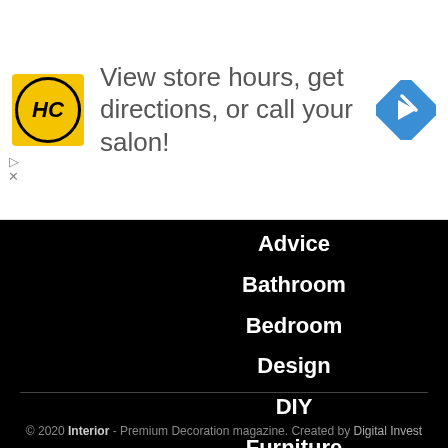[Figure (infographic): Advertisement banner: HC salon logo on yellow background, text 'View store hours, get directions, or call your salon!', blue map/directions icon on the right]
Advice
Bathroom
Bedroom
Design
DIY
Furniture
Kitchen
Kitchen
Living Room
Maintenance
Uncategorized
© 2020 Interior - Premium Decoration magazine. Created by Digital Invest